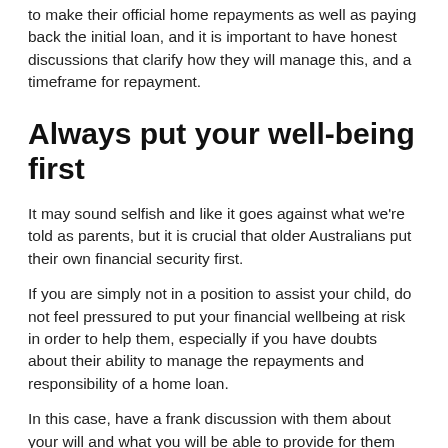to make their official home repayments as well as paying back the initial loan, and it is important to have honest discussions that clarify how they will manage this, and a timeframe for repayment.
Always put your well-being first
It may sound selfish and like it goes against what we're told as parents, but it is crucial that older Australians put their own financial security first.
If you are simply not in a position to assist your child, do not feel pressured to put your financial wellbeing at risk in order to help them, especially if you have doubts about their ability to manage the repayments and responsibility of a home loan.
In this case, have a frank discussion with them about your will and what you will be able to provide for them after you have passed. You can